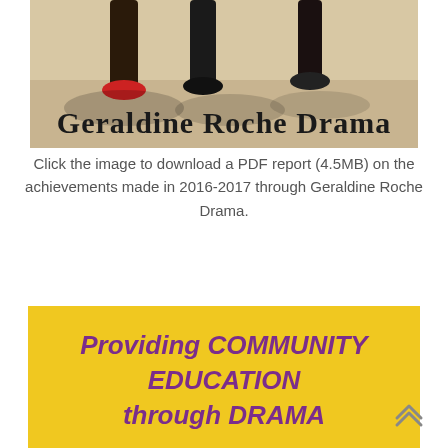[Figure (photo): Photograph showing people's feet and legs from below, with handwritten-style text 'Geraldine Roche Drama' overlaid at the bottom of the image]
Click the image to download a PDF report (4.5MB) on the achievements made in 2016-2017 through Geraldine Roche Drama.
Providing COMMUNITY EDUCATION through DRAMA